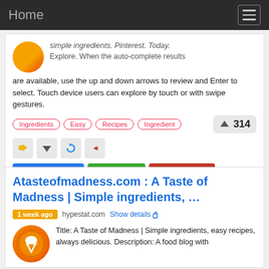Home
simple ingredients. Pinterest. Today. Explore. When the auto-complete results are available, use the up and down arrows to review and Enter to select. Touch device users can explore by touch or with swipe gestures.
Ingredients  Easy  Recipes  Ingredient  ▲ 314
Show detail  Preview  View more
Atasteofmadness.com : A Taste of Madness | Simple ingredients, …
1 week ago  hypestat.com  Show details
Title: A Taste of Madness | Simple ingredients, easy recipes, always delicious. Description: A food blog with